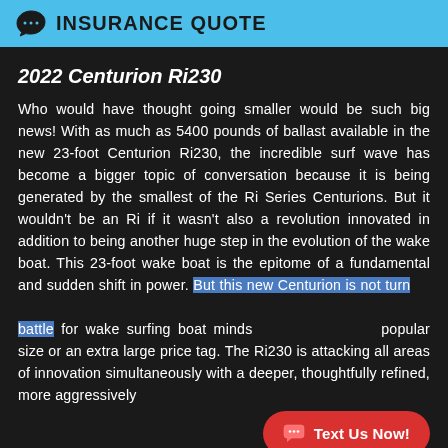INSURANCE QUOTE
2022 Centurion Ri230
Who would have thought going smaller would be such big news! With as much as 5400 pounds of ballast available in the new 23-foot Centurion Ri230, the incredible surf wave has become a bigger topic of conversation because it is being generated by the smallest of the Ri Series Centurions. But it wouldn't be an Ri if it wasn't also a revolution innovated in addition to being another huge step in the evolution of the wake boat. This 23-foot wake boat is the epitome of a fundamental and sudden shift in power. But this new Centurion is not turning the battle for wake surfing boat mindshare based on its popular size or an extra large price tag. The Ri230 is attacking all areas of innovation simultaneously with a deeper, thoughtfully refined, more aggressively